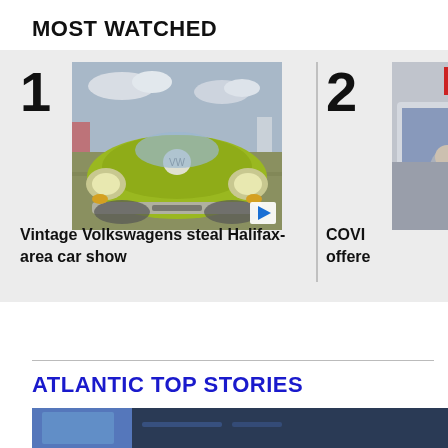MOST WATCHED
[Figure (photo): Vintage green Volkswagen Beetle seen from front at a car show, item #1 in Most Watched list]
Vintage Volkswagens steal Halifax-area car show
[Figure (photo): Partially visible item #2 thumbnail showing a person near a screen (COVID related), cropped at right edge]
COVI offere
ATLANTIC TOP STORIES
[Figure (photo): Partially visible news image at bottom of page, dark blue/grey tones, cropped]